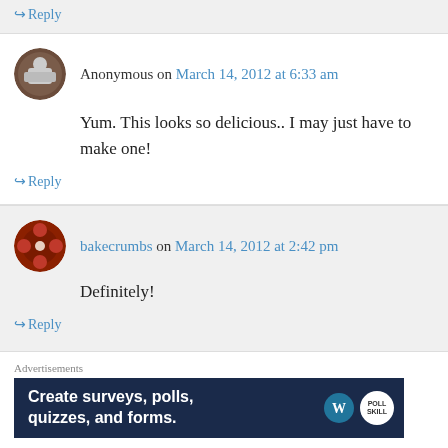↪ Reply
Anonymous on March 14, 2012 at 6:33 am
Yum. This looks so delicious.. I may just have to make one!
↪ Reply
bakecrumbs on March 14, 2012 at 2:42 pm
Definitely!
↪ Reply
Advertisements
[Figure (infographic): Ad banner with dark navy background. Text: Create surveys, polls, quizzes, and forms. WordPress and poll logos on the right.]